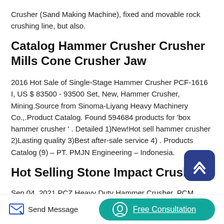Crusher (Sand Making Machine), fixed and movable rock crushing line, but also.
Catalog Hammer Crusher Crusher Mills Cone Crusher Jaw
2016 Hot Sale of Single-Stage Hammer Crusher PCF-1616 I, US $ 83500 - 93500 Set, New, Hammer Crusher, Mining.Source from Sinoma-Liyang Heavy Machinery Co.,.Product Catalog. Found 594684 products for 'box hammer crusher ' . Detailed 1)New!Hot sell hammer crusher 2)Lasting quality 3)Best after-sale service 4) . Products Catalog (9) – PT. PMJN Engineering – Indonesia.
Hot Selling Stone Impact Crusher
Sep 04, 2021 PCZ Heavy Duty Hammer Crusher. PCM